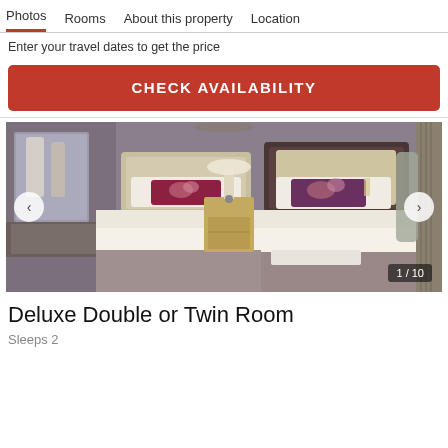Photos  Rooms  About this property  Location
Enter your travel dates to get the price
CHECK AVAILABILITY
[Figure (photo): Hotel room with two single beds, decorative pillows, cream headboards, bedside table with lamp, mirror in background. Navigation arrows on left and right. Counter '1 / 10' in bottom right.]
Deluxe Double or Twin Room
Sleeps 2